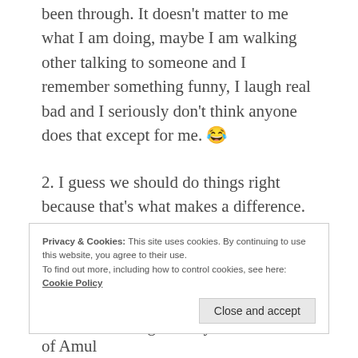been through. It doesn't matter to me what I am doing, maybe I am walking other talking to someone and I remember something funny, I laugh real bad and I seriously don't think anyone does that except for me. 😂
2. I guess we should do things right because that's what makes a difference.
3. I would apologize to my parents, both of them because they have done a lot for me and sometimes I do hurt them without realizing it. They are the best
Privacy & Cookies: This site uses cookies. By continuing to use this website, you agree to their use.
To find out more, including how to control cookies, see here: Cookie Policy
Close and accept
4. My personal best dish… An entire bar of Amul